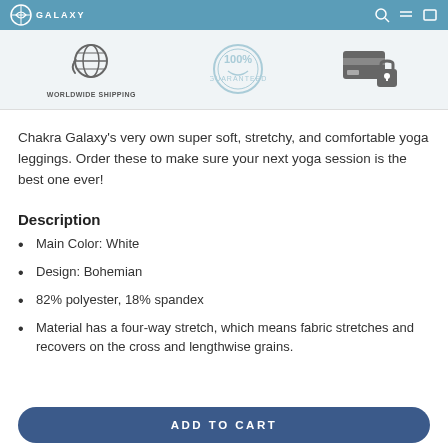GALAXY
[Figure (infographic): Three trust icons: Worldwide Shipping globe icon with label, 100% Guaranteed circular stamp icon, and a secure payment credit card with lock icon.]
Chakra Galaxy's very own super soft, stretchy, and comfortable yoga leggings. Order these to make sure your next yoga session is the best one ever!
Description
Main Color: White
Design: Bohemian
82% polyester, 18% spandex
Material has a four-way stretch, which means fabric stretches and recovers on the cross and lengthwise grains.